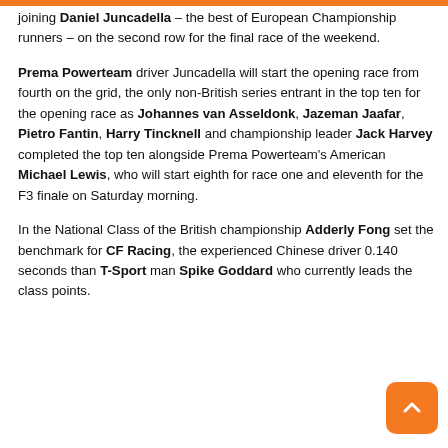joining Daniel Juncadella – the best of European Championship runners – on the second row for the final race of the weekend.

Prema Powerteam driver Juncadella will start the opening race from fourth on the grid, the only non-British series entrant in the top ten for the opening race as Johannes van Asseldonk, Jazeman Jaafar, Pietro Fantin, Harry Tincknell and championship leader Jack Harvey completed the top ten alongside Prema Powerteam's American Michael Lewis, who will start eighth for race one and eleventh for the F3 finale on Saturday morning.

In the National Class of the British championship Adderly Fong set the benchmark for CF Racing, the experienced Chinese driver 0.140 seconds than T-Sport man Spike Goddard who currently leads the class points.